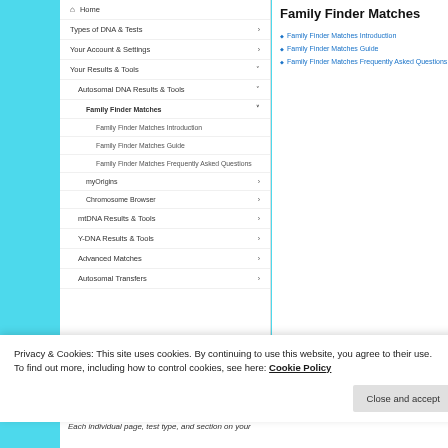Home
Types of DNA & Tests
Your Account & Settings
Your Results & Tools
Autosomal DNA Results & Tools
Family Finder Matches
Family Finder Matches Introduction
Family Finder Matches Guide
Family Finder Matches Frequently Asked Questions
myOrigins
Chromosome Browser
mtDNA Results & Tools
Y-DNA Results & Tools
Advanced Matches
Autosomal Transfers
Family Finder Matches
Family Finder Matches Introduction
Family Finder Matches Guide
Family Finder Matches Frequently Asked Questions
Privacy & Cookies: This site uses cookies. By continuing to use this website, you agree to their use.
To find out more, including how to control cookies, see here: Cookie Policy
Each individual page, test type, and section on your